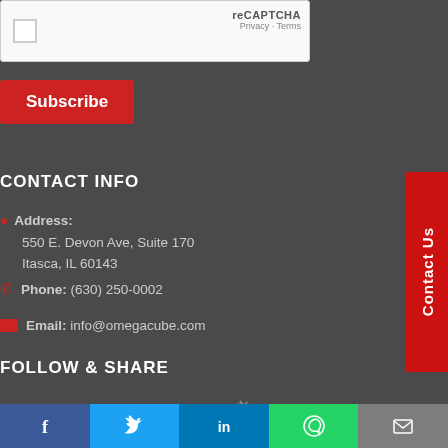[Figure (screenshot): reCAPTCHA widget with checkbox and branding showing Privacy and Terms links]
Subscribe
CONTACT INFO
Address:
550 E. Devon Ave, Suite 170
Itasca, IL 60143
Phone: (630) 250-0002
Email: info@omegacube.com
Contact Us
FOLLOW & SHARE
[Figure (illustration): Social media icons: Facebook, LinkedIn, YouTube, Twitter]
[Figure (illustration): Bottom share bar with Facebook, Twitter, LinkedIn, WhatsApp, and Email icons]